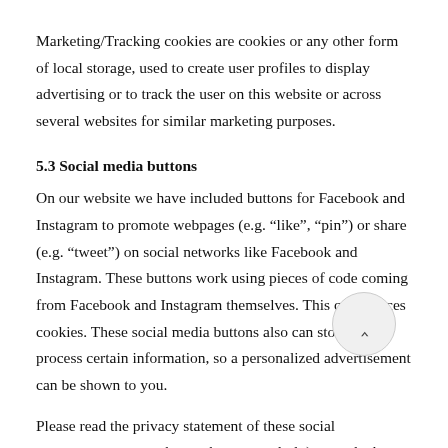Marketing/Tracking cookies are cookies or any other form of local storage, used to create user profiles to display advertising or to track the user on this website or across several websites for similar marketing purposes.
5.3 Social media buttons
On our website we have included buttons for Facebook and Instagram to promote webpages (e.g. “like”, “pin”) or share (e.g. “tweet”) on social networks like Facebook and Instagram. These buttons work using pieces of code coming from Facebook and Instagram themselves. This code places cookies. These social media buttons also can store and process certain information, so a personalized advertisement can be shown to you.
Please read the privacy statement of these social networks (which can change regularly) to read what they do with your (personal)